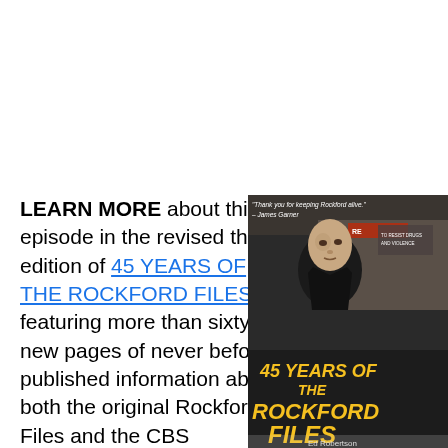LEARN MORE about this episode in the revised third edition of 45 YEARS OF THE ROCKFORD FILES, featuring more than sixty new pages of never before published information about both the original Rockford Files and the CBS
[Figure (photo): Book cover of '45 Years of The Rockford Files' by Ed Robertson, showing a man in a dark jacket with a quote 'Thank you for keeping Rockford alive.' - James Garner at the top, and the title in large gold/yellow text.]